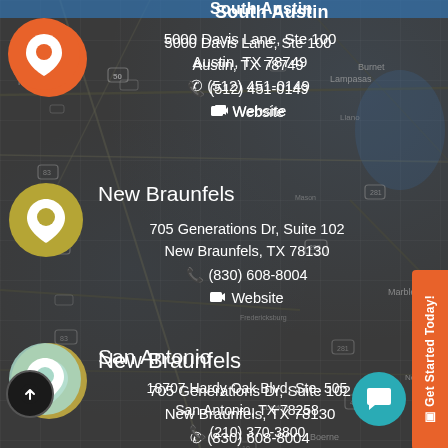South Austin
5000 Davis Lane, Ste 100
Austin, TX 78749
☎ (512) 451-0149
🔗 Website
New Braunfels
705 Generations Dr, Suite 102
New Braunfels, TX 78130
☎ (830) 608-8004
🔗 Website
San Antonio
18707 Hardy Oak Blvd, Ste. 505
San Antonio, TX 78258
☎ (210) 370-3800
🔗 Website
[Figure (map): Map background showing Texas region with road network in dark/gray tones]
Get Started Today!